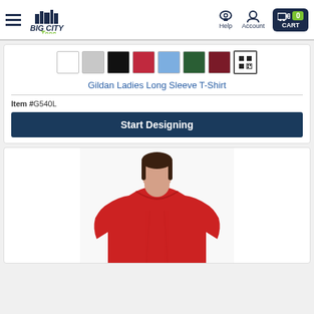Big City Tees — Help | Account | CART 0
[Figure (illustration): Color swatches: white, light gray, black, red, light blue, dark green, dark red, plus a QR/grid icon button]
Gildan Ladies Long Sleeve T-Shirt
Item #G540L
Start Designing
[Figure (photo): Woman wearing a red long sleeve crew neck t-shirt, cropped to show torso and lower face/neck only]